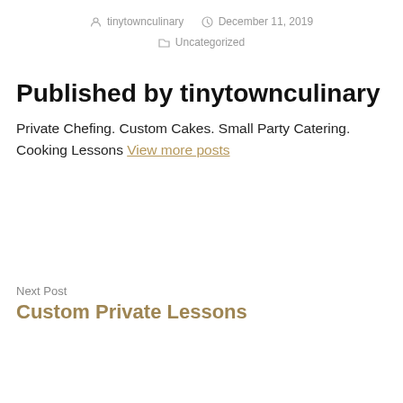tinytownculinary  December 11, 2019  Uncategorized
Published by tinytownculinary
Private Chefing. Custom Cakes. Small Party Catering. Cooking Lessons View more posts
Next Post
Custom Private Lessons